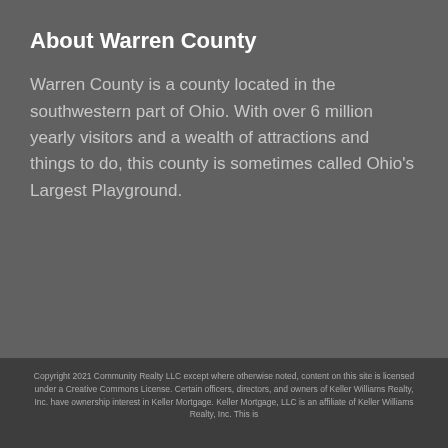About Warren County
Warren County is a county located in the southwestern part of Ohio. With over 6 million yearly visitors and a wealth of attractions and things to do, this county is sometimes called Ohio's Largest Playground.
Copyright 2021 Community Realty LLC except where otherwise noted, content on this site is licensed under a Creative Commons License. Certain officers, directors, and owners of Keller Williams Realty, Inc. have ownership interest in Keller Mortgage. Keller Mortgage, LLC is an affiliate of Keller Williams Realty, Inc. This is